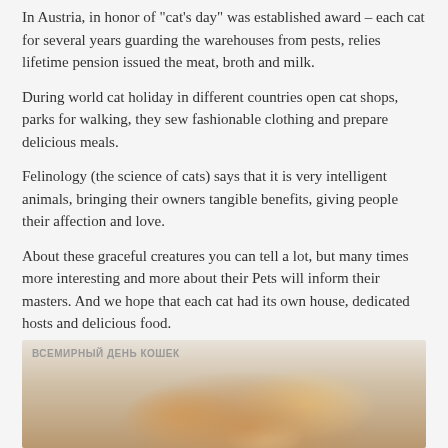In Austria, in honor of "cat's day" was established award – each cat for several years guarding the warehouses from pests, relies lifetime pension issued the meat, broth and milk.
During world cat holiday in different countries open cat shops, parks for walking, they sew fashionable clothing and prepare delicious meals.
Felinology (the science of cats) says that it is very intelligent animals, bringing their owners tangible benefits, giving people their affection and love.
About these graceful creatures you can tell a lot, but many times more interesting and more about their Pets will inform their masters. And we hope that each cat had its own house, dedicated hosts and delicious food.
[Figure (photo): Photo of a fluffy orange/golden cat, cropped to show fur and top of head. Overlay text reads 'ВСЕМИРНЫЙ ДЕНЬ КОШЕК' (World Cat Day in Russian).]